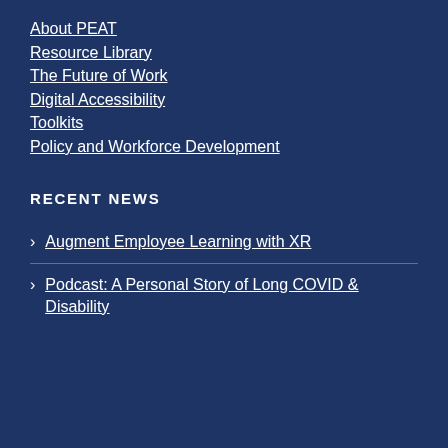About PEAT
Resource Library
The Future of Work
Digital Accessibility
Toolkits
Policy and Workforce Development
RECENT NEWS
Augment Employee Learning with XR
Podcast: A Personal Story of Long COVID & Disability